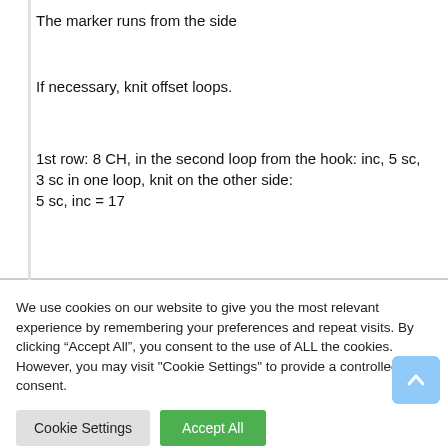The marker runs from the side
If necessary, knit offset loops.
1st row: 8 CH, in the second loop from the hook: inc, 5 sc, 3 sc in one loop, knit on the other side:
5 sc, inc = 17
We use cookies on our website to give you the most relevant experience by remembering your preferences and repeat visits. By clicking “Accept All”, you consent to the use of ALL the cookies. However, you may visit "Cookie Settings" to provide a controlled consent.